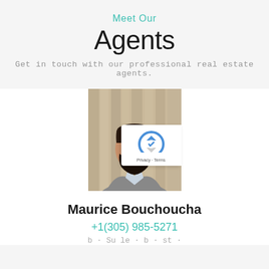Meet Our
Agents
Get in touch with our professional real estate agents.
[Figure (photo): Portrait photo of a man in a grey suit jacket with a beard, smiling, against a light background with vertical lines.]
Maurice Bouchoucha
+1(305) 985-5271